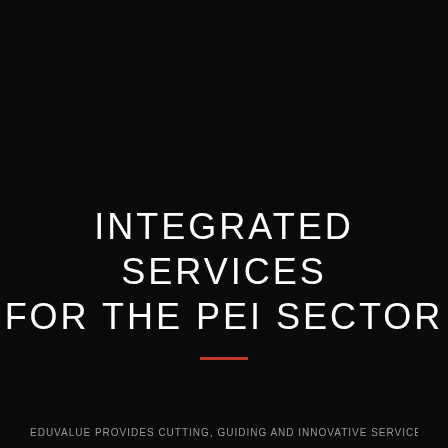INTEGRATED SERVICES FOR THE PEI SECTOR
EduValue provides cutting, guiding and innovative services